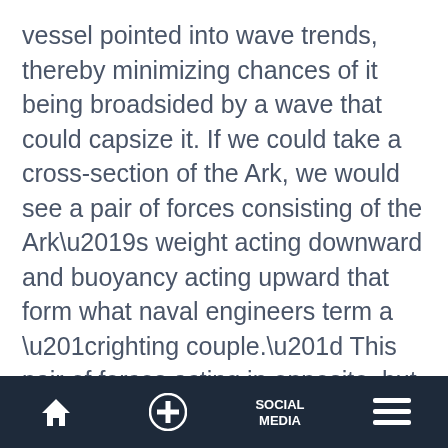vessel pointed into wave trends, thereby minimizing chances of it being broadsided by a wave that could capsize it. If we could take a cross-section of the Ark, we would see a pair of forces consisting of the Ark’s weight acting downward and buoyancy acting upward that form what naval engineers term a “righting couple.” This pair of forces acting in opposite, but parallel, directions tends to force the vessel to “right” itself when tilted. As shown in the figure, for any degree of tilt up to 90 degrees, the couple would right the Ark
Home | + | SOCIAL MEDIA | Menu